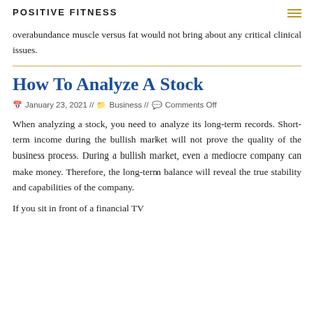POSITIVE FITNESS
overabundance muscle versus fat would not bring about any critical clinical issues.
How To Analyze A Stock
January 23, 2021 // Business // Comments Off
When analyzing a stock, you need to analyze its long-term records. Short-term income during the bullish market will not prove the quality of the business process. During a bullish market, even a mediocre company can make money. Therefore, the long-term balance will reveal the true stability and capabilities of the company.
If you sit in front of a financial TV channel, you will find...